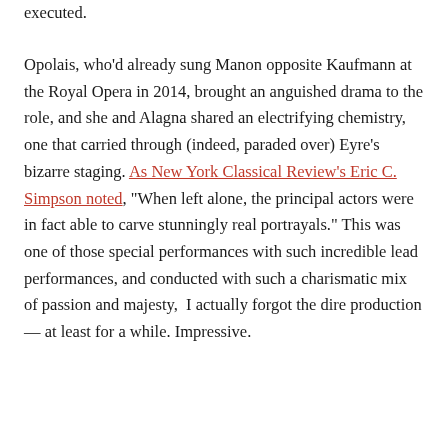executed.
Opolais, who'd already sung Manon opposite Kaufmann at the Royal Opera in 2014, brought an anguished drama to the role, and she and Alagna shared an electrifying chemistry, one that carried through (indeed, paraded over) Eyre's bizarre staging. As New York Classical Review's Eric C. Simpson noted, “When left alone, the principal actors were in fact able to carve stunningly real portrayals.” This was one of those special performances with such incredible lead performances, and conducted with such a charismatic mix of passion and majesty,  I actually forgot the dire production — at least for a while. Impressive.